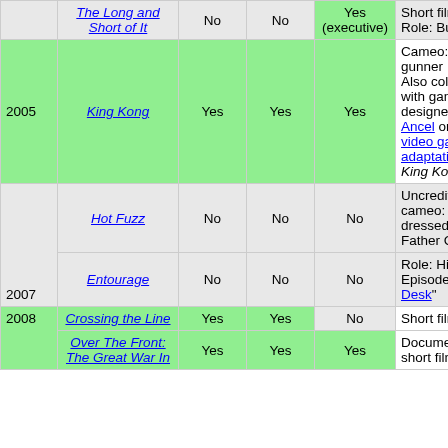| Year | Film | Director | Producer | Writer | Notes |
| --- | --- | --- | --- | --- | --- |
|  | The Long and Short of It | No | No | Yes (executive) | Short film
Role: Bus driver |
| 2005 | King Kong | Yes | Yes | Yes | Cameo: Biplane gunner
Also collaborated with game designer Michel Ancel on the video game adaptation of King Kong |
|  | Hot Fuzz | No | No | No | Uncredited cameo: Thief dressed as Father Christmas |
| 2007 | Entourage | No | No | No | Role: Himself
Episode: "Gary's Desk" |
|  | Crossing the Line | Yes | Yes | No | Short film |
| 2008 | Over The Front: The Great War In | Yes | Yes | Yes | Documentary short film |